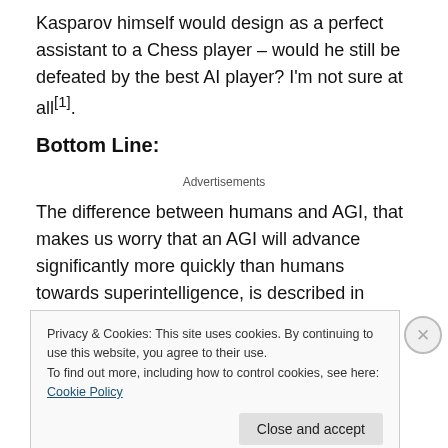Kasparov himself would design as a perfect assistant to a Chess player – would he still be defeated by the best AI player? I'm not sure at all[1].
Bottom Line:
Advertisements
The difference between humans and AGI, that makes us worry that an AGI will advance significantly more quickly than humans towards superintelligence, is described in
Privacy & Cookies: This site uses cookies. By continuing to use this website, you agree to their use.
To find out more, including how to control cookies, see here: Cookie Policy
Close and accept